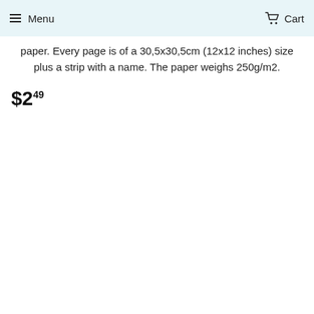Menu  Cart
paper. Every page is of a 30,5x30,5cm (12x12 inches) size plus a strip with a name. The paper weighs 250g/m2.
$2.49